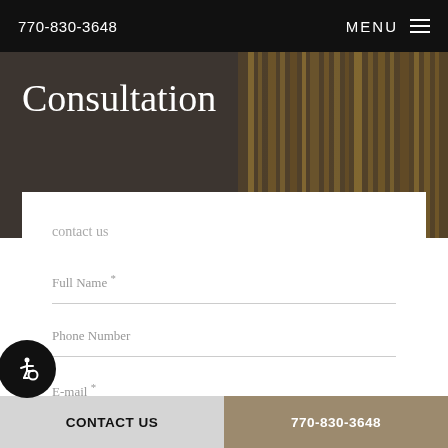770-830-3648   MENU
Consultation
contact us
Full Name *
Phone Number
E-mail *
CONTACT US   770-830-3648